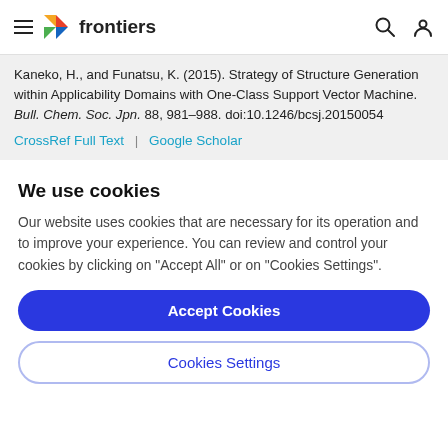frontiers
Kaneko, H., and Funatsu, K. (2015). Strategy of Structure Generation within Applicability Domains with One-Class Support Vector Machine. Bull. Chem. Soc. Jpn. 88, 981–988. doi:10.1246/bcsj.20150054
CrossRef Full Text | Google Scholar
We use cookies
Our website uses cookies that are necessary for its operation and to improve your experience. You can review and control your cookies by clicking on "Accept All" or on "Cookies Settings".
Accept Cookies
Cookies Settings